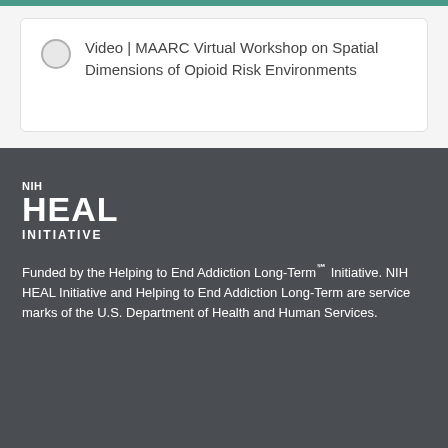Video | MAARC Virtual Workshop on Spatial Dimensions of Opioid Risk Environments
[Figure (logo): NIH HEAL INITIATIVE logo in white text on dark background]
Funded by the Helping to End Addiction Long-Term℠ Initiative. NIH HEAL Initiative and Helping to End Addiction Long-Term are service marks of the U.S. Department of Health and Human Services.